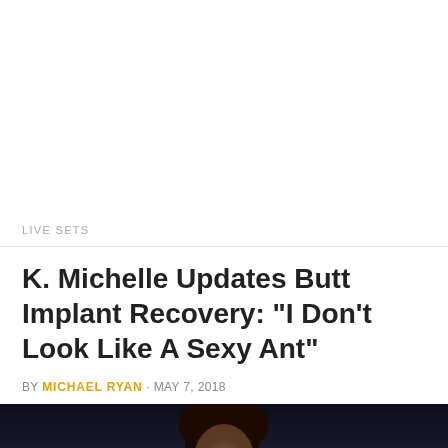LIVE SETS
K. Michelle Updates Butt Implant Recovery: "I Don't Look Like A Sexy Ant"
BY MICHAEL RYAN · MAY 7, 2018
[Figure (photo): Photo of K. Michelle on a dark stage background, showing her face and hair]